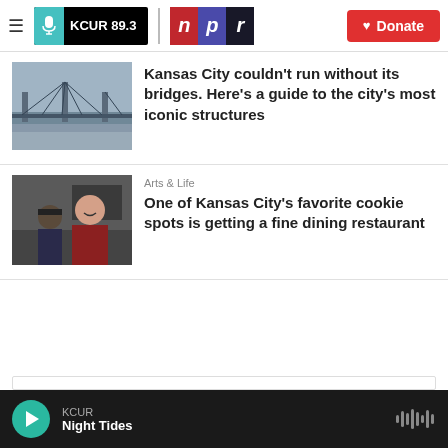KCUR 89.3 | npr — Donate
[Figure (photo): Photo of a bridge over a river in Kansas City]
Kansas City couldn't run without its bridges. Here's a guide to the city's most iconic structures
Arts & Life
[Figure (photo): Photo of two men, one in dark clothing and one in a red shirt, in a kitchen setting]
One of Kansas City's favorite cookie spots is getting a fine dining restaurant
KCUR — Night Tides